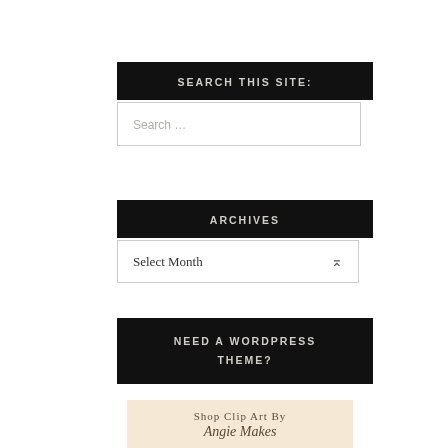SEARCH THIS SITE:
Search ...
ARCHIVES
Select Month
NEED A WORDPRESS THEME?
Shop Clip Art By Angie Makes